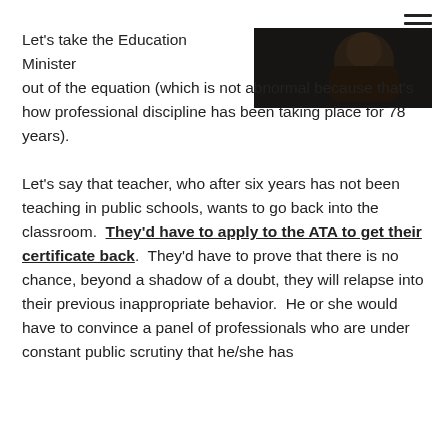[Figure (photo): Dark photograph of a person, partially visible in upper right corner]
Let's take the Education Minister out of the equation (which is not abnormal because that's how professional discipline has been taking place for 78 years).
Let's say that teacher, who after six years has not been teaching in public schools, wants to go back into the classroom.  They'd have to apply to the ATA to get their certificate back.  They'd have to prove that there is no chance, beyond a shadow of a doubt, they will relapse into their previous inappropriate behavior.  He or she would have to convince a panel of professionals who are under constant public scrutiny that he/she has